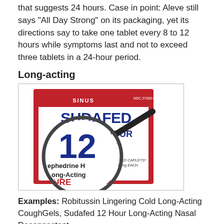that suggests 24 hours. Case in point: Aleve still says "All Day Strong" on its packaging, yet its directions say to take one tablet every 8 to 12 hours while symptoms last and not to exceed three tablets in a 24-hour period.
Long-acting
[Figure (photo): Photo of Sudafed 12 Hour Long-Acting Nasal Decongestant packaging viewed through a magnifying glass, showing enlarged text including 'SUDAFED', '12 HOUR', 'ephedrine H...', 'Long-Acting', 'SURE', 'N', and product details.]
Examples: Robitussin Lingering Cold Long-Acting CoughGels, Sudafed 12 Hour Long-Acting Nasal Decongestant
What it means: That depends. Some drugs say "24 hour" or "12 hour." You can buy both versions of